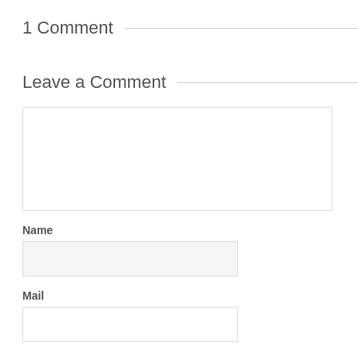1 Comment
Leave a Comment
[Figure (other): Large empty textarea for comment input]
Name
[Figure (other): Name input field with light grey background]
Mail
[Figure (other): Mail input field with white background]